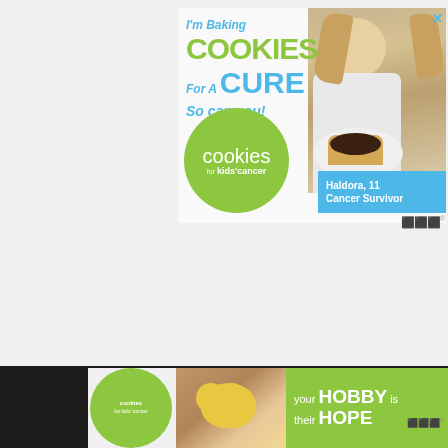[Figure (advertisement): Advertisement for 'Cookies for Kids' Cancer' campaign. Shows a young girl (Haldora, 11, Cancer Survivor) holding a plate of cookies with chocolate frosting. Text reads: 'I'm Baking COOKIES For A CURE So can you!' with green circle logo showing 'cookies for kids' cancer' and teal box with 'Haldora, 11 Cancer Survivor'. Has blue X close button top right corner.]
[Figure (advertisement): Bottom banner advertisement for 'Cookies for Kids' Cancer'. Green and dark themed. Shows hands holding a heart-shaped cookie, green circle logo, and text 'your HOBBY is their HOPE'. Has blue X close button.]